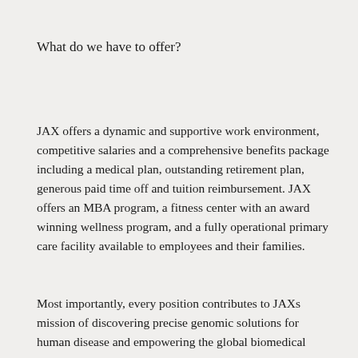What do we have to offer?
JAX offers a dynamic and supportive work environment, competitive salaries and a comprehensive benefits package including a medical plan, outstanding retirement plan, generous paid time off and tuition reimbursement. JAX offers an MBA program, a fitness center with an award winning wellness program, and a fully operational primary care facility available to employees and their families.
Most importantly, every position contributes to JAXs mission of discovering precise genomic solutions for human disease and empowering the global biomedical